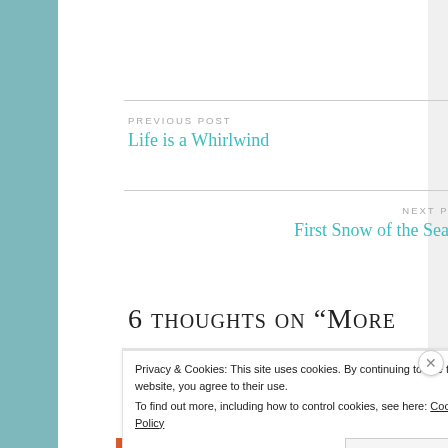PREVIOUS POST
Life is a Whirlwind
NEXT POST
First Snow of the Season
6 thoughts on “More
Privacy & Cookies: This site uses cookies. By continuing to use this website, you agree to their use.
To find out more, including how to control cookies, see here: Cookie Policy
Close and accept